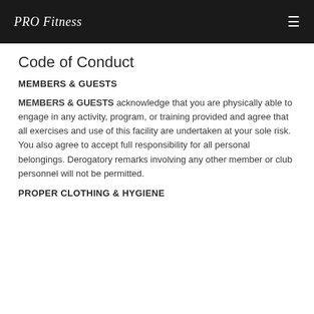PRO Fitness
Code of Conduct
MEMBERS & GUESTS
MEMBERS & GUESTS acknowledge that you are physically able to engage in any activity, program, or training provided and agree that all exercises and use of this facility are undertaken at your sole risk. You also agree to accept full responsibility for all personal belongings. Derogatory remarks involving any other member or club personnel will not be permitted.
PROPER CLOTHING & HYGIENE